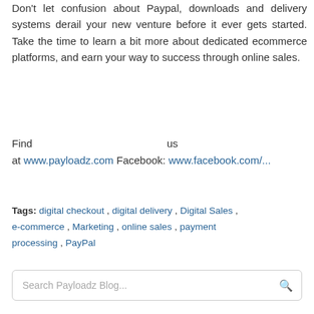Don't let confusion about Paypal, downloads and delivery systems derail your new venture before it ever gets started. Take the time to learn a bit more about dedicated ecommerce platforms, and earn your way to success through online sales.
Find us at www.payloadz.com Facebook: www.facebook.com/...
Tags: digital checkout , digital delivery , Digital Sales , e-commerce , Marketing , online sales , payment processing , PayPal
Search Payloadz Blog...